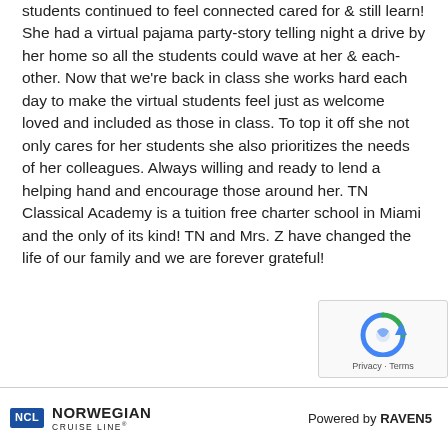students continued to feel connected cared for & still learn! She had a virtual pajama party-story telling night a drive by her home so all the students could wave at her & each-other. Now that we're back in class she works hard each day to make the virtual students feel just as welcome loved and included as those in class. To top it off she not only cares for her students she also prioritizes the needs of her colleagues. Always willing and ready to lend a helping hand and encourage those around her. TN Classical Academy is a tuition free charter school in Miami and the only of its kind! TN and Mrs. Z have changed the life of our family and we are forever grateful!
[Figure (other): reCAPTCHA widget showing a circular arrow icon and Privacy/Terms links]
NCL NORWEGIAN CRUISE LINE® Powered by RAVEN5